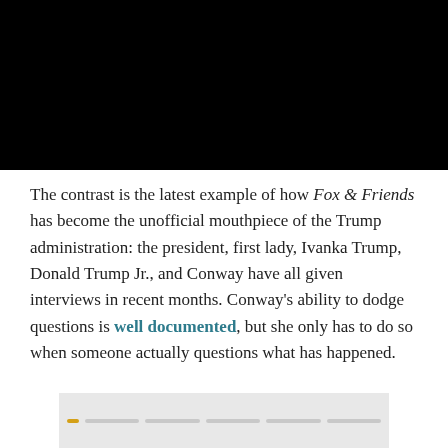[Figure (screenshot): Black video player rectangle at top of page]
The contrast is the latest example of how Fox & Friends has become the unofficial mouthpiece of the Trump administration: the president, first lady, Ivanka Trump, Donald Trump Jr., and Conway have all given interviews in recent months. Conway's ability to dodge questions is well documented, but she only has to do so when someone actually questions what has happened.
[Figure (screenshot): Partially visible thumbnail or embedded content preview at the bottom of the page with light gray background and small colored line elements]